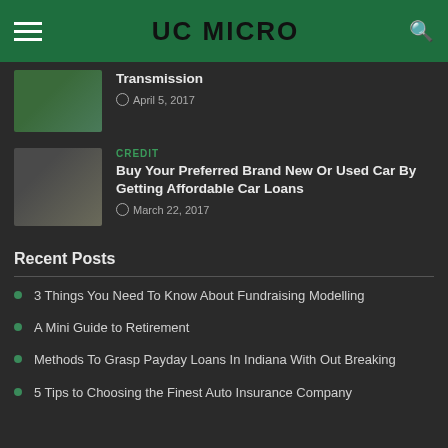UC MICRO
Transmission
April 5, 2017
CREDIT
Buy Your Preferred Brand New Or Used Car By Getting Affordable Car Loans
March 22, 2017
Recent Posts
3 Things You Need To Know About Fundraising Modelling
A Mini Guide to Retirement
Methods To Grasp Payday Loans In Indiana With Out Breaking
5 Tips to Choosing the Finest Auto Insurance Company